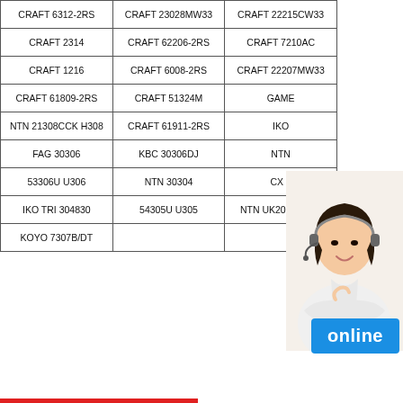| CRAFT 6312-2RS | CRAFT 23028MW33 | CRAFT 22215CW33 |
| CRAFT 2314 | CRAFT 62206-2RS | CRAFT 7210AC |
| CRAFT 1216 | CRAFT 6008-2RS | CRAFT 22207MW33 |
| CRAFT 61809-2RS | CRAFT 51324M | GAME... |
| NTN 21308CCK H308 | CRAFT 61911-2RS | IKO... |
| FAG 30306 | KBC 30306DJ | NTN... |
| 53306U U306 | NTN 30304 | CX 2... |
| IKO TRI 304830 | 54305U U305 | NTN UK207 H2307 |
| KOYO 7307B/DT |  |  |
[Figure (photo): Woman with headset smiling, customer service representative]
online